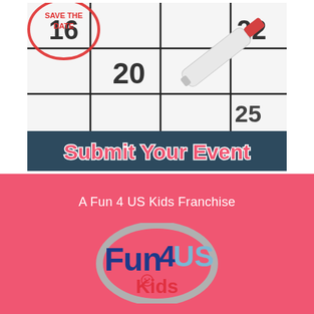[Figure (illustration): Calendar image showing 'Save the Date' text in red circle with a red marker pen, showing dates 20 and 22, with a dark navy banner overlay reading 'Submit Your Event' in red bubble text with white outline]
A Fun 4 US Kids Franchise
[Figure (logo): Fun4US Kids logo featuring bold blue and red text 'Fun4US' with a gray circular ring and 'Kids' text below in red, with a smiley face icon]